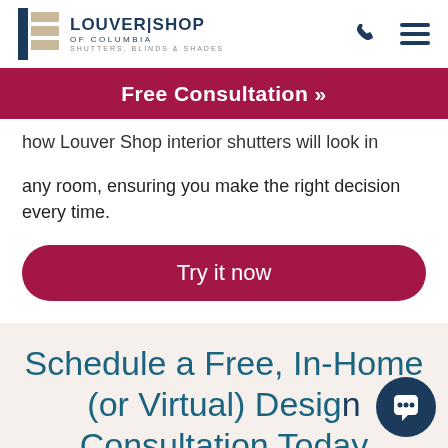Louver Shop of Columbia | Shutters, Blinds & Shades
Free Consultation »
how Louver Shop interior shutters will look in any room, ensuring you make the right decision every time.
Try it now
Schedule a Free, In-Home (or Virtual) Design Consultation Today